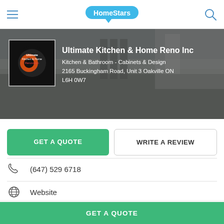HomeStars
[Figure (screenshot): Hero banner showing a kitchen interior in greyscale with company logo on left]
Ultimate Kitchen & Home Reno Inc
Kitchen & Bathroom - Cabinets & Design
2165 Buckingham Road, Unit 3 Oakville ON L6H 0W7
GET A QUOTE
WRITE A REVIEW
(647) 529 6718
Website
HomeStars > Kitchen & Bathroom - Cabinets & Design > Ultimate Kitchen & Home Reno Inc
GET A QUOTE